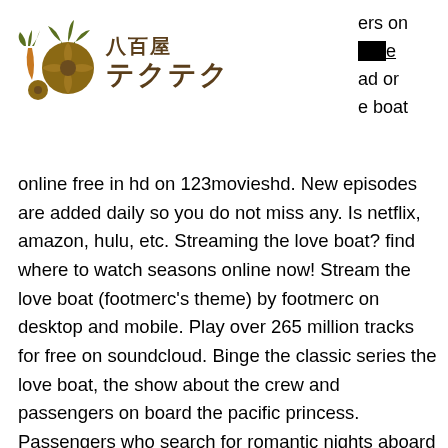[Figure (logo): 八百屋テクテク logo with vegetable/produce icon in brown/olive colors and Japanese text]
ers on
nline
ad or
e boat
online free in hd on 123movieshd. New episodes are added daily so you do not miss any. Is netflix, amazon, hulu, etc. Streaming the love boat? find where to watch seasons online now! Stream the love boat (footmerc's theme) by footmerc on desktop and mobile. Play over 265 million tracks for free on soundcloud. Binge the classic series the love boat, the show about the crew and passengers on board the pacific princess. Passengers who search for romantic nights aboard a beautiful ship travelling to tropical or mysterious countries, decide to pass their vacation. The love boat season 9 episode 1 tv series online free without registration, the love boat season 9 episode 1 free online, the love boat season 9 episode 1. 247 episodes (98%) are available to stream on a